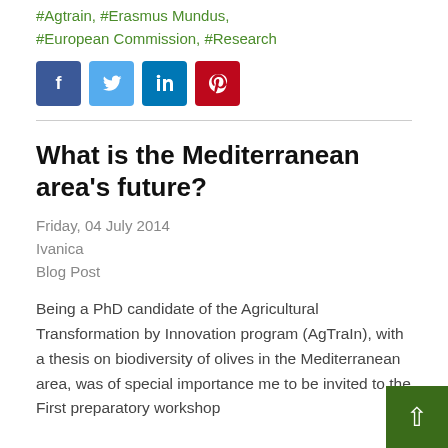#Agtrain, #Erasmus Mundus, #European Commission, #Research
[Figure (other): Four social media share buttons: Facebook (dark blue), Twitter (light blue), LinkedIn (medium blue), Pinterest (dark red), each with a white icon symbol.]
What is the Mediterranean area's future?
Friday, 04 July 2014
Ivanica
Blog Post
Being a PhD candidate of the Agricultural Transformation by Innovation program (AgTraIn), with a thesis on biodiversity of olives in the Mediterranean area, was of special importance me to be invited to the First preparatory workshop